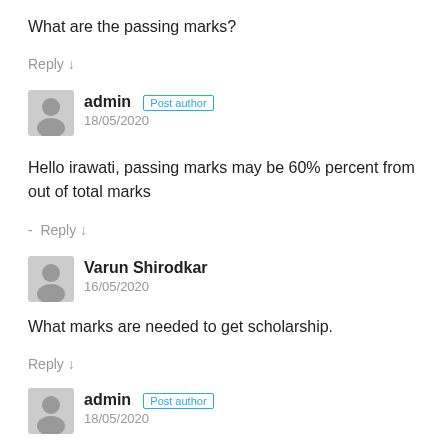What are the passing marks?
Reply ↓
admin  Post author
18/05/2020
Hello irawati, passing marks may be 60% percent from out of total marks
- Reply ↓
Varun Shirodkar
16/05/2020
What marks are needed to get scholarship.
Reply ↓
admin  Post author
18/05/2020